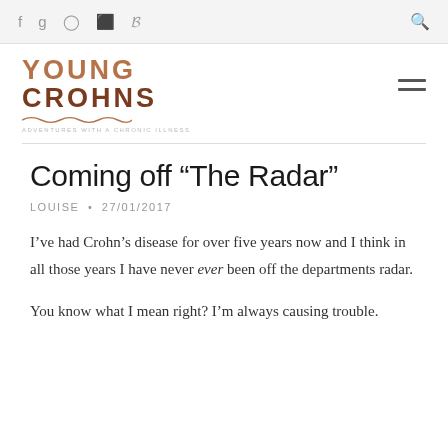f g ◎ p ✓  [search icon]
[Figure (logo): Young Crohns blog logo with text 'YOUNG CROHNS' in stylized brown lettering and tagline 'ADVENTURES WITH A CHRONIC ILLNESS' with wavy underline]
Coming off “The Radar”
LOUISE • 27/01/2017
I’ve had Crohn’s disease for over five years now and I think in all those years I have never ever been off the departments radar.
You know what I mean right? I’m always causing trouble.